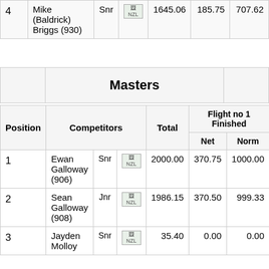| Position | Competitors |  |  | Total | Net | Norm |
| --- | --- | --- | --- | --- | --- | --- |
| 4 | Mike (Baldrick) Briggs (930) | Snr | NZL | 1645.06 | 185.75 | 707.62 |
Masters
| Position | Competitors |  |  | Total | Flight no 1 Finished Net | Flight no 1 Finished Norm |
| --- | --- | --- | --- | --- | --- | --- |
| 1 | Ewan Galloway (906) | Snr | NZL | 2000.00 | 370.75 | 1000.00 |
| 2 | Sean Galloway (908) | Jnr | NZL | 1986.15 | 370.50 | 999.33 |
| 3 | Jayden Molloy | Snr | NZL | 35.40 | 0.00 | 0.00 |